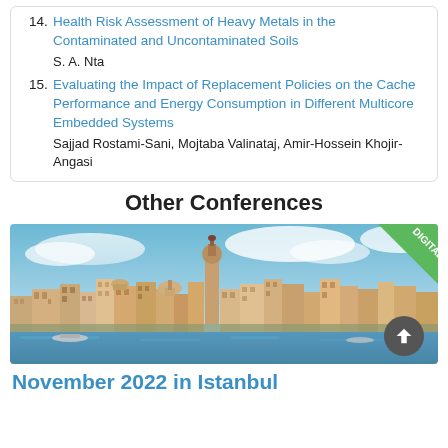14. Health Risk Assessment of Heavy Metals in the Contaminated and Uncontaminated Soils
S. A. Nta
15. Evaluating the Impact of Replacement Policies on the Cache Performance and Energy Consumption in Different Multicore Embedded Systems
Sajjad Rostami-Sani, Mojtaba Valinataj, Amir-Hossein Khojir-Angasi
Other Conferences
[Figure (photo): City skyline photograph of Istanbul showing buildings and a tower (Galata Tower area) with a green 'DIGITAL' ribbon badge in the top-right corner, and a dark scroll-up button at the bottom right.]
November 2022 in Istanbul